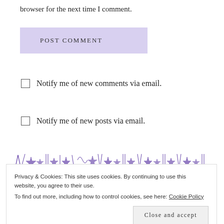browser for the next time I comment.
POST COMMENT
Notify me of new comments via email.
Notify me of new posts via email.
[Figure (illustration): Decorative bar with purple star/sparkle ornamental symbols]
Privacy & Cookies: This site uses cookies. By continuing to use this website, you agree to their use.
To find out more, including how to control cookies, see here: Cookie Policy
Close and accept